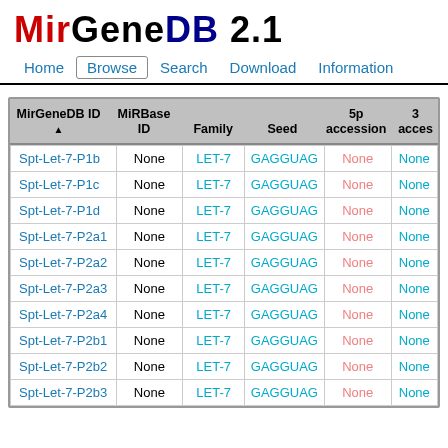MirGeneDB 2.1
Home | Browse | Search | Download | Information
| MirGeneDB ID ▲ | MiRBase ID | Family | Seed | 5p accession | 3p acces... |
| --- | --- | --- | --- | --- | --- |
| Spt-Let-7-P1b | None | LET-7 | GAGGUAG | None | None |
| Spt-Let-7-P1c | None | LET-7 | GAGGUAG | None | None |
| Spt-Let-7-P1d | None | LET-7 | GAGGUAG | None | None |
| Spt-Let-7-P2a1 | None | LET-7 | GAGGUAG | None | None |
| Spt-Let-7-P2a2 | None | LET-7 | GAGGUAG | None | None |
| Spt-Let-7-P2a3 | None | LET-7 | GAGGUAG | None | None |
| Spt-Let-7-P2a4 | None | LET-7 | GAGGUAG | None | None |
| Spt-Let-7-P2b1 | None | LET-7 | GAGGUAG | None | None |
| Spt-Let-7-P2b2 | None | LET-7 | GAGGUAG | None | None |
| Spt-Let-7-P2b3 | None | LET-7 | GAGGUAG | None | None |